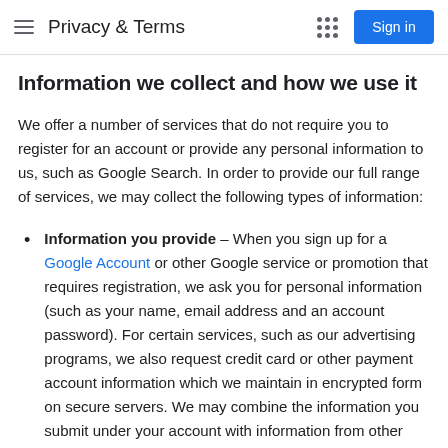Privacy & Terms
Information we collect and how we use it
We offer a number of services that do not require you to register for an account or provide any personal information to us, such as Google Search. In order to provide our full range of services, we may collect the following types of information:
Information you provide – When you sign up for a Google Account or other Google service or promotion that requires registration, we ask you for personal information (such as your name, email address and an account password). For certain services, such as our advertising programs, we also request credit card or other payment account information which we maintain in encrypted form on secure servers. We may combine the information you submit under your account with information from other Google services or third parties in order to provide you with a better experience